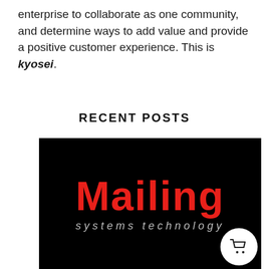enterprise to collaborate as one community, and determine ways to add value and provide a positive customer experience. This is kyosei.
RECENT POSTS
[Figure (logo): Mailing Systems Technology logo on black background. Large red text reads 'Mailing' with 'systems technology' in smaller grey/white spaced lettering below. A shopping cart icon with badge showing '0' appears in lower right.]